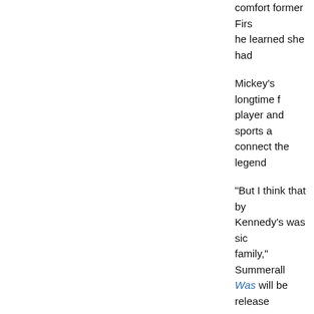comfort former Firs he learned she had
Mickey's longtime f player and sports a connect the legend
“But I think that by Kennedy’s was sic family,” Summerall Was will be release
Continue reading "
Posted on July 22, 2022 at 03
Tweet
April 02, 2022
Mickey Mant